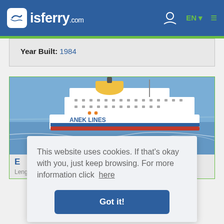isferry.com
Year Built: 1984
[Figure (photo): A large white ferry with ANEK LINES branding sailing across blue water]
This website uses cookies. If that's okay with you, just keep browsing. For more information click here
Got it!